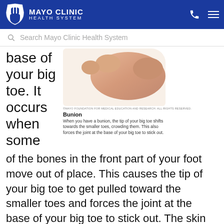MAYO CLINIC HEALTH SYSTEM
Search Mayo Clinic Health System
base of your big toe. It occurs when some of the bones in the front part of your foot move out of place. This causes the tip of your big toe to get pulled toward the smaller toes and forces the joint at the base of your big toe to stick out. The skin over the bunion might be red and sore.
[Figure (photo): Close-up photo of a human foot showing a bunion at the base of the big toe, with skin-colored foot against white background.]
Bunion
When you have a bunion, the tip of your big toe shifts towards the smaller toes, crowding them. This also forces the joint at the base of your big toe to stick out.
Wearing tight, narrow shoes might cause bunions or make them worse. Bunions can also develop as